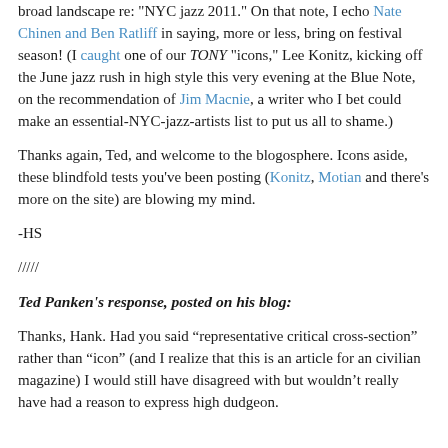broad landscape re: "NYC jazz 2011." On that note, I echo Nate Chinen and Ben Ratliff in saying, more or less, bring on festival season! (I caught one of our TONY "icons," Lee Konitz, kicking off the June jazz rush in high style this very evening at the Blue Note, on the recommendation of Jim Macnie, a writer who I bet could make an essential-NYC-jazz-artists list to put us all to shame.)
Thanks again, Ted, and welcome to the blogosphere. Icons aside, these blindfold tests you've been posting (Konitz, Motian and there's more on the site) are blowing my mind.
-HS
/////
Ted Panken's response, posted on his blog:
Thanks, Hank. Had you said “representative critical cross-section” rather than “icon” (and I realize that this is an article for an civilian magazine) I would still have disagreed with but wouldn’t really have had a reason to express high dudgeon.